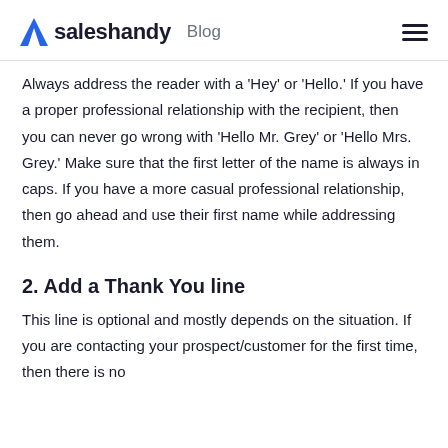saleshandy Blog
Always address the reader with a 'Hey' or 'Hello.' If you have a proper professional relationship with the recipient, then you can never go wrong with 'Hello Mr. Grey' or 'Hello Mrs. Grey.' Make sure that the first letter of the name is always in caps. If you have a more casual professional relationship, then go ahead and use their first name while addressing them.
2. Add a Thank You line
This line is optional and mostly depends on the situation. If you are contacting your prospect/customer for the first time, then there is no